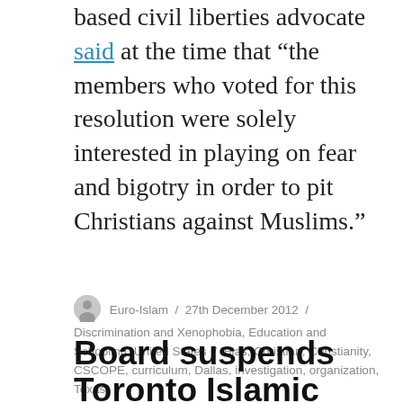based civil liberties advocate said at the time that “the members who voted for this resolution were solely interested in playing on fear and bigotry in order to pit Christians against Muslims.”
Euro-Islam / 27th December 2012 / Discrimination and Xenophobia, Education and Schooling, United States / Bias, Christian, Christianity, CSCOPE, curriculum, Dallas, investigation, organization, Texas
Board suspends Toronto Islamic school’s operating permit after row over